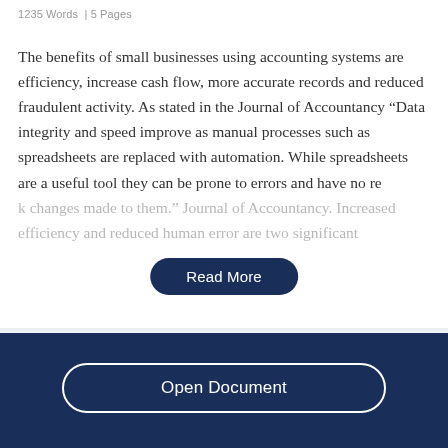1235 Words  | 5 Pages
The benefits of small businesses using accounting systems are efficiency, increase cash flow, more accurate records and reduced fraudulent activity. As stated in the Journal of Accountancy “Data integrity and speed improve as manual processes such as spreadsheets are replaced with automation. While spreadsheets are a useful tool they can be prone to errors and have no record of changes made to them.” Journal of Accountancy. Increased efficiency and reduced human error are two significant
Read More
Open Document